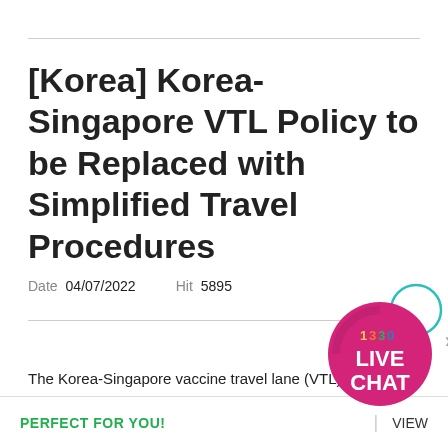[Korea] Korea-Singapore VTL Policy to be Replaced with Simplified Travel Procedures
Date  04/07/2022    Hit  5895
The Korea-Singapore vaccine travel lane (VTL) policy will be
[Figure (logo): 1330 Live Chat pink circular badge with '1330' in colored letters and 'LIVE CHAT' in white bold text]
PERFECT FOR YOU!
VIEW